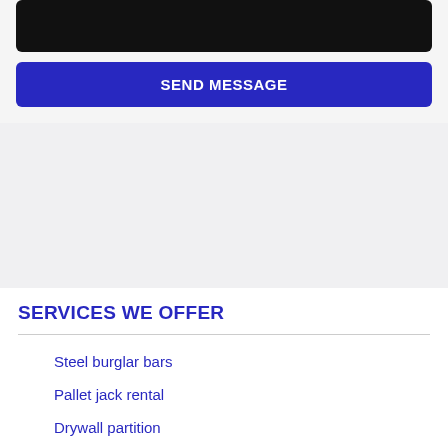[Figure (other): Black input text area box]
SEND MESSAGE
SERVICES WE OFFER
Steel burglar bars
Pallet jack rental
Drywall partition
Super 500 gate motor